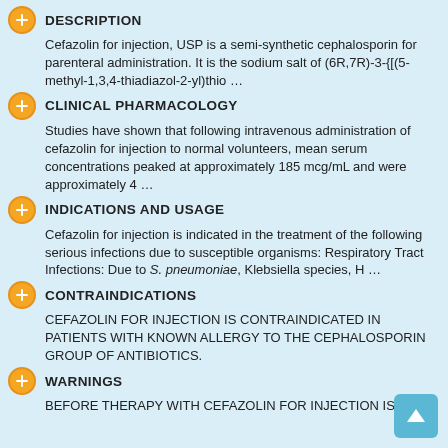DESCRIPTION
Cefazolin for injection, USP is a semi-synthetic cephalosporin for parenteral administration. It is the sodium salt of (6R,7R)-3-{[(5-methyl-1,3,4-thiadiazol-2-yl)thio …
CLINICAL PHARMACOLOGY
Studies have shown that following intravenous administration of cefazolin for injection to normal volunteers, mean serum concentrations peaked at approximately 185 mcg/mL and were approximately 4 …
INDICATIONS AND USAGE
Cefazolin for injection is indicated in the treatment of the following serious infections due to susceptible organisms: Respiratory Tract Infections: Due to S. pneumoniae, Klebsiella species, H …
CONTRAINDICATIONS
CEFAZOLIN FOR INJECTION IS CONTRAINDICATED IN PATIENTS WITH KNOWN ALLERGY TO THE CEPHALOSPORIN GROUP OF ANTIBIOTICS.
WARNINGS
BEFORE THERAPY WITH CEFAZOLIN FOR INJECTION IS